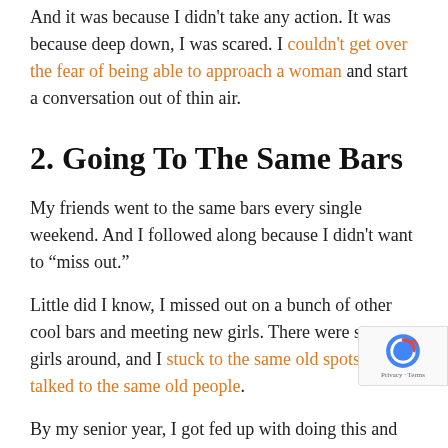And it was because I didn't take any action. It was because deep down, I was scared. I couldn't get over the fear of being able to approach a woman and start a conversation out of thin air.
2. Going To The Same Bars
My friends went to the same bars every single weekend. And I followed along because I didn't want to "miss out."
Little did I know, I missed out on a bunch of other cool bars and meeting new girls. There were so many girls around, and I stuck to the same old spots and talked to the same old people.
By my senior year, I got fed up with doing this and started going to a few new spots. It was then that I realized how much I was missing out this entire time!